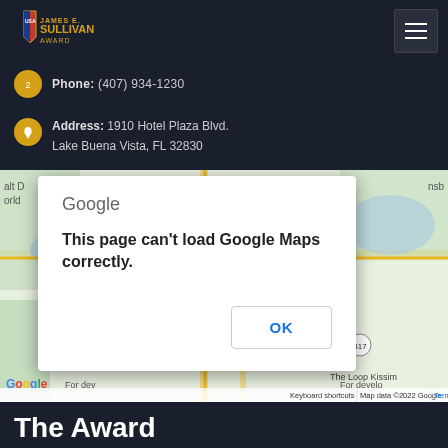James E. Sullivan Award
Phone: (407) 934-1230
Address: 1910 Hotel Plaza Blvd. Lake Buena Vista, FL 32830
[Figure (screenshot): Google Maps embedded map showing Lake Buena Vista, FL area near Holiday Inn Resort Orlando Suites with a Google error dialog overlay reading: 'This page can't load Google Maps correctly.' with an OK button. Map bottom bar shows: Keyboard shortcuts | Map data ©2022 Google | Terms of Use]
The Award